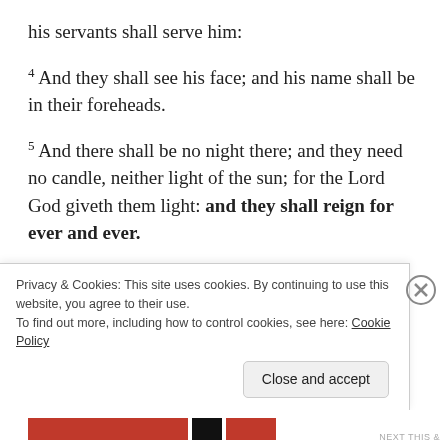his servants shall serve him:
4 And they shall see his face; and his name shall be in their foreheads.
5 And there shall be no night there; and they need no candle, neither light of the sun; for the Lord God giveth them light: and they shall reign for ever and ever.
6 And he said unto me, These sayings are faithful and true: and the Lord God of the holy
Privacy & Cookies: This site uses cookies. By continuing to use this website, you agree to their use.
To find out more, including how to control cookies, see here: Cookie Policy
Close and accept